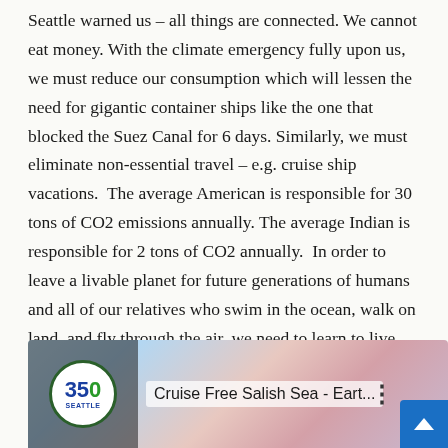Seattle warned us – all things are connected. We cannot eat money. With the climate emergency fully upon us, we must reduce our consumption which will lessen the need for gigantic container ships like the one that blocked the Suez Canal for 6 days. Similarly, we must eliminate non-essential travel – e.g. cruise ship vacations.  The average American is responsible for 30 tons of CO2 emissions annually. The average Indian is responsible for 2 tons of CO2 annually.  In order to leave a livable planet for future generations of humans and all of our relatives who swim in the ocean, walk on land, and fly through the air, we need to learn to live like people in India.
[Figure (screenshot): Video thumbnail for '350 Seattle – Cruise Free Salish Sea - Eart...' with 350 Seattle logo on the left and a colorful background image. A scroll-to-top button appears at the bottom right.]